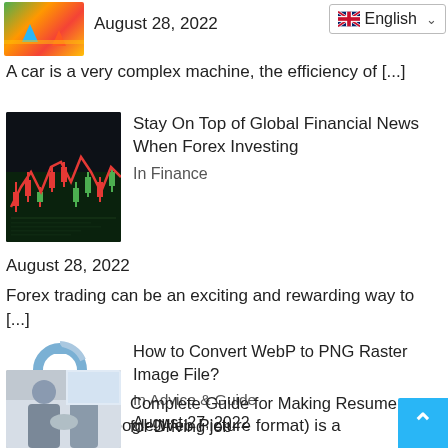[Figure (photo): Colorful abstract image with arrows]
August 28, 2022
[Figure (screenshot): English language selector dropdown with UK flag]
A car is a very complex machine, the efficiency of [...]
[Figure (photo): Stock market chart with red candlestick graph on dark background]
Stay On Top of Global Financial News When Forex Investing
In Finance
August 28, 2022
Forex trading can be an exciting and rewarding way to [...]
[Figure (logo): Blue recycle/convert arrows icon and EBP to PNG text]
How to Convert WebP to PNG Raster Image File?
In Advice & Guide
August 27, 2022
Yes, WebP (Google Web Picture format) is a modern file [...]
[Figure (photo): Two people shaking hands in office setting]
Complete Guide for Making Resume for Driving job